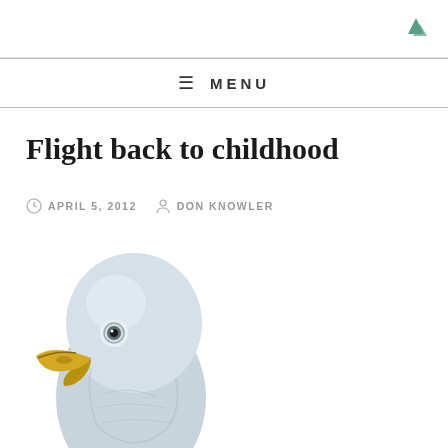Flight back to childhood
APRIL 5, 2012  DON KNOWLER
[Figure (illustration): Close-up illustration of a bird head, likely a gannet or similar seabird, with a yellow beak, gray-white plumage, and a dark eye, partially cropped at the bottom of the page.]